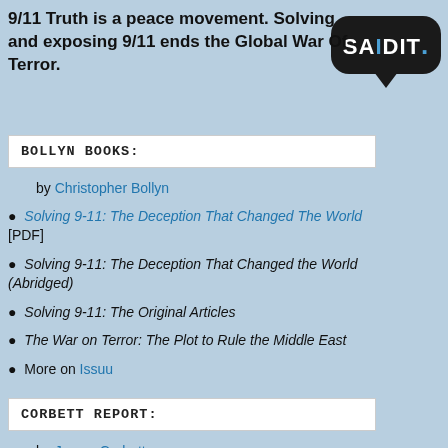9/11 Truth is a peace movement. Solving and exposing 9/11 ends the Global War Of Terror.
[Figure (logo): SAIDIT.net logo — white text on black rounded speech bubble with blue dot]
BOLLYN BOOKS:
by Christopher Bollyn
Solving 9-11: The Deception That Changed The World [PDF]
Solving 9-11: The Deception That Changed the World (Abridged)
Solving 9-11: The Original Articles
The War on Terror: The Plot to Rule the Middle East
More on Issuu
CORBETT REPORT:
by James Corbett
9/11 Trillions: Follow the Money
9/11 War Games